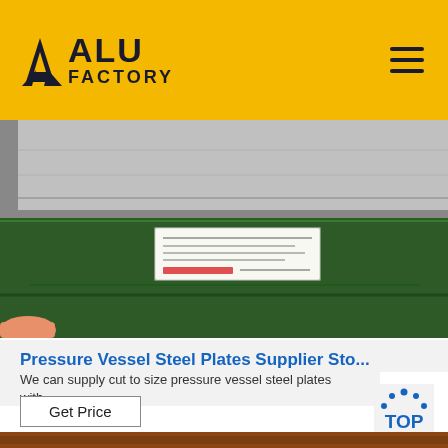ALU FACTORY
[Figure (photo): Industrial steel plates stacked in a warehouse, with a label/tag attached. Background shows green-painted surface and silver metallic plates. A hand is partially visible at lower left.]
Pressure Vessel Steel Plates Supplier Sto...
We can supply cut to size pressure vessel steel plates with...
Get Price